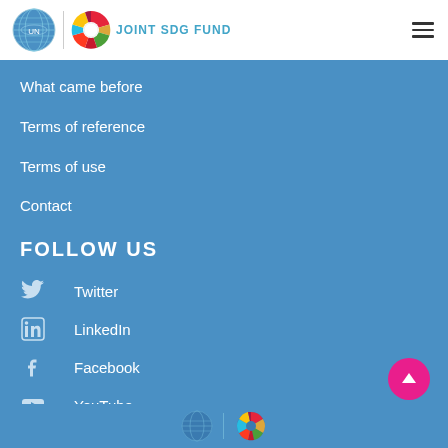JOINT SDG FUND
What came before
Terms of reference
Terms of use
Contact
FOLLOW US
Twitter
LinkedIn
Facebook
YouTube